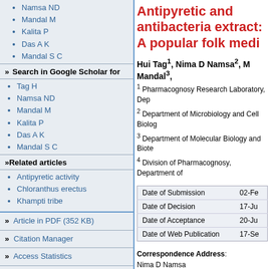Namsa ND
Mandal M
Kalita P
Das A K
Mandal S C
» Search in Google Scholar for
Tag H
Namsa ND
Mandal M
Kalita P
Das A K
Mandal S C
»Related articles
Antipyretic activity
Chloranthus erectus
Khampti tribe
» Article in PDF (352 KB)
» Citation Manager
» Access Statistics
» Reader Comments
» Email Alert *
» Add to My List *
* Registration required (free)
Antipyretic and antibacteria extract: A popular folk medi
Hui Tag1, Nima D Namsa2, M Mandal3,
1 Pharmacognosy Research Laboratory, Dep
2 Department of Microbiology and Cell Biolog
3 Department of Molecular Biology and Biote
4 Division of Pharmacognosy, Department of
|  |  |
| --- | --- |
| Date of Submission | 02-Fe |
| Date of Decision | 17-Ju |
| Date of Acceptance | 20-Ju |
| Date of Web Publication | 17-Se |
Correspondence Address: Nima D Namsa Department of Microbiology and Cell Biology India
Login to access the email ID
Source of Support: None, Conflict of Inter
[Figure (logo): ref and PMC logos at bottom of page]